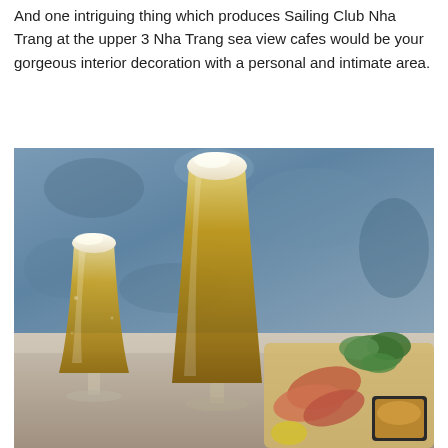And one intriguing thing which produces Sailing Club Nha Trang at the upper 3 Nha Trang sea view cafes would be your gorgeous interior decoration with a personal and intimate area.
[Figure (photo): Two tall glasses of golden beer with foam heads on a table, alongside a food platter with sliced meats, fresh herbs/greens, and a small bowl of sauce, set against a blue textured background.]